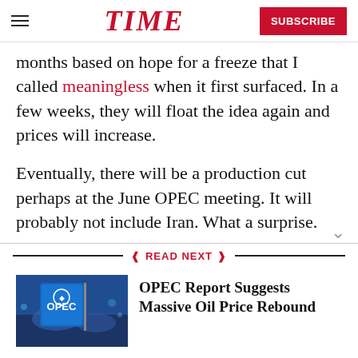TIME | SUBSCRIBE
months based on hope for a freeze that I called meaningless when it first surfaced. In a few weeks, they will float the idea again and prices will increase.
Eventually, there will be a production cut perhaps at the June OPEC meeting. It will probably not include Iran. What a surprise.
READ NEXT
[Figure (photo): OPEC logo on a blue flag at a conference setting]
OPEC Report Suggests Massive Oil Price Rebound